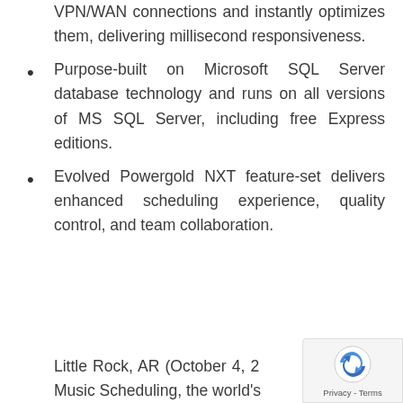VPN/WAN connections and instantly optimizes them, delivering millisecond responsiveness.
Purpose-built on Microsoft SQL Server database technology and runs on all versions of MS SQL Server, including free Express editions.
Evolved Powergold NXT feature-set delivers enhanced scheduling experience, quality control, and team collaboration.
Little Rock, AR (October 4, 2... Powergold Music Scheduling, the world's...